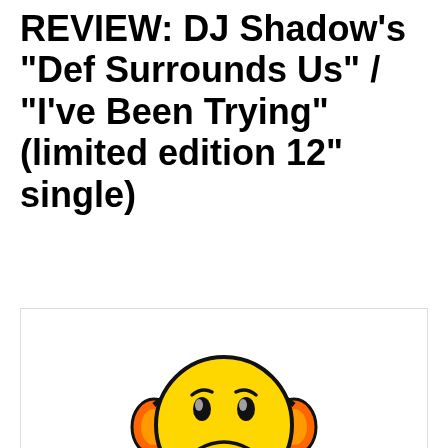REVIEW: DJ Shadow's "Def Surrounds Us" / "I've Been Trying" (limited edition 12" single)
[Figure (illustration): A sad emoji face wearing orange headphones and blue body, with the TinyPic logo below it and text reading 'This image is no longer available. Visit tinypic.com for more information.']